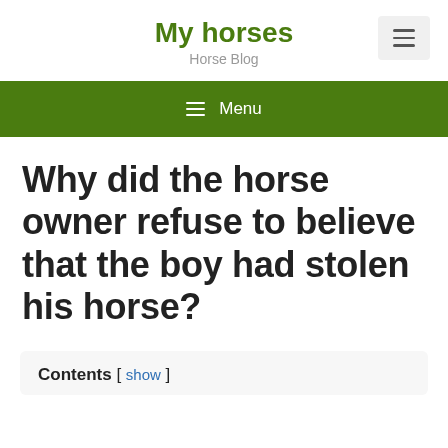My horses — Horse Blog
≡ Menu
Why did the horse owner refuse to believe that the boy had stolen his horse?
Contents [ show ]